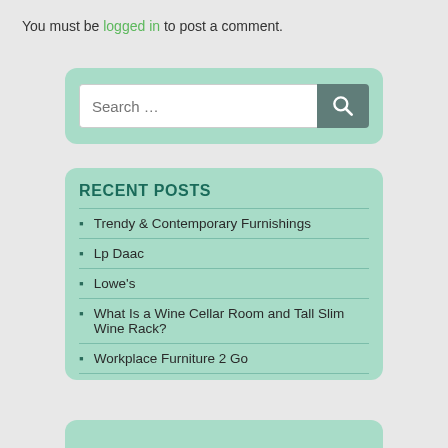You must be logged in to post a comment.
[Figure (other): Search box widget with text field and search button icon]
RECENT POSTS
Trendy & Contemporary Furnishings
Lp Daac
Lowe's
What Is a Wine Cellar Room and Tall Slim Wine Rack?
Workplace Furniture 2 Go